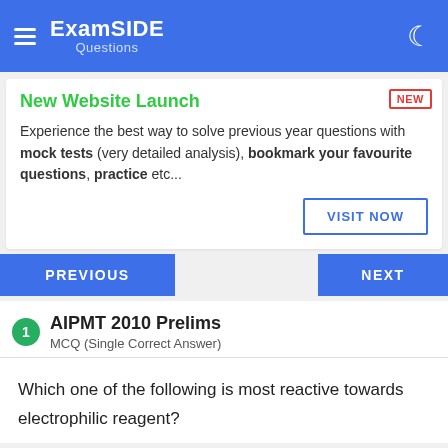ExamSIDE Questions
New Website Launch
Experience the best way to solve previous year questions with mock tests (very detailed analysis), bookmark your favourite questions, practice etc...
VISIT NOW
PREVIOUS
NEXT
AIPMT 2010 Prelims
MCQ (Single Correct Answer)
Which one of the following is most reactive towards electrophilic reagent?